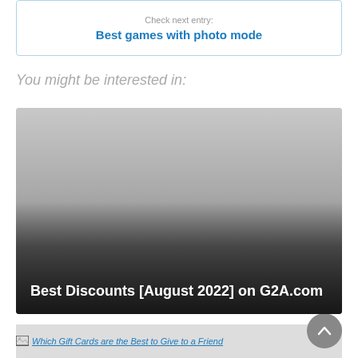Check next entry:
Best games with photo mode
You might be interested in:
[Figure (screenshot): Card image for 'Best Discounts [August 2022] on G2A.com' with broken image placeholder and gradient overlay with white bold title text at bottom.]
Best Discounts [August 2022] on G2A.com
[Figure (screenshot): Card image for 'Which Gift Cards are the Best to Give to a Friend' with broken image placeholder, partially visible at bottom of page.]